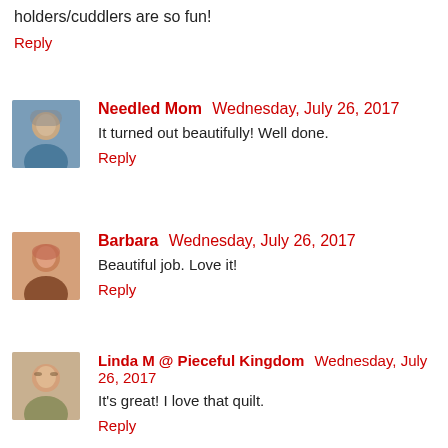holders/cuddlers are so fun!
Reply
Needled Mom  Wednesday, July 26, 2017
It turned out beautifully! Well done.
Reply
[Figure (photo): Avatar photo of Barbara]
Barbara  Wednesday, July 26, 2017
Beautiful job. Love it!
Reply
[Figure (photo): Avatar photo of Linda M @ Pieceful Kingdom]
Linda M @ Pieceful Kingdom  Wednesday, July 26, 2017
It's great! I love that quilt.
Reply